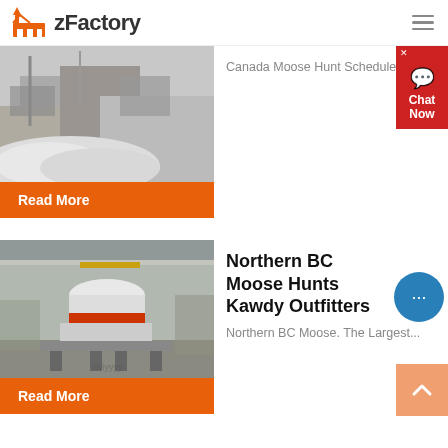zFactory
[Figure (photo): Industrial machinery/quarry scene with white crushed stone and equipment]
Canada Moose Hunt Schedule. ...
Read More
[Figure (photo): Industrial cone crusher machine inside a factory/warehouse]
Northern BC Moose Hunts Kawdy Outfitters
Northern BC Moose. The Largest...
Read More